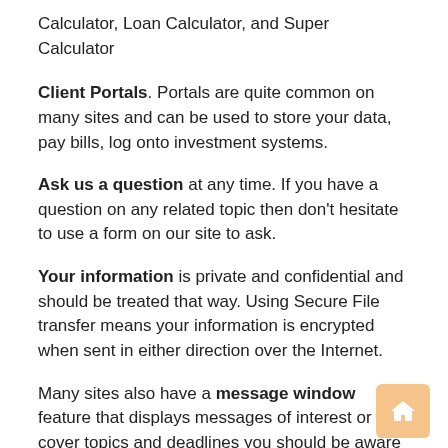Calculator, Loan Calculator, and Super Calculator
Client Portals. Portals are quite common on many sites and can be used to store your data, pay bills, log onto investment systems.
Ask us a question at any time. If you have a question on any related topic then don't hesitate to use a form on our site to ask.
Your information is private and confidential and should be treated that way. Using Secure File transfer means your information is encrypted when sent in either direction over the Internet.
Many sites also have a message window feature that displays messages of interest or that cover topics and deadlines you should be aware of.
[Figure (illustration): Home icon button in a rounded orange/amber square, positioned at the bottom right of the page.]